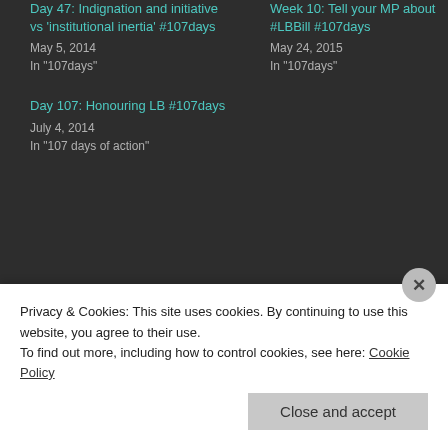Day 47: Indignation and initiative vs 'institutional inertia' #107days
May 5, 2014
In '107days'
Week 10: Tell your MP about #LBBill #107days
May 24, 2015
In '107days'
Day 107: Honouring LB #107days
July 4, 2014
In '107 days of action'
This entry was tagged birthday, carrie morgan, celebrate, connor sparrowhawk, country dance, honour, justiceforLB, laughing boy, LB, oxford party, oxford sports and social club, party, party night, poetry, tragedy transformed. Bookmark the permalink.
Privacy & Cookies: This site uses cookies. By continuing to use this website, you agree to their use.
To find out more, including how to control cookies, see here: Cookie Policy